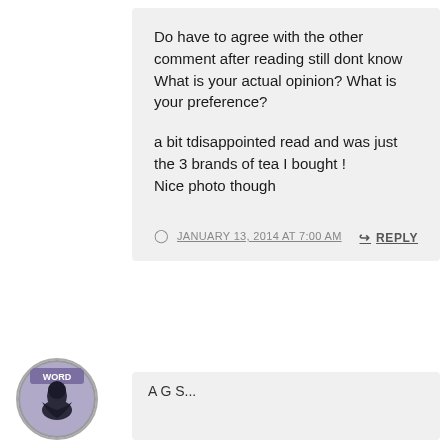Do have to agree with the other comment after reading still dont know What is your actual opinion? What is your preference?

a bit tdisappointed read and was just the 3 brands of tea I bought !
Nice photo though
JANUARY 13, 2014 AT 7:00 AM
↪ REPLY
[Figure (photo): Circular avatar image with 'WORD' label, showing a dark illustrated figure on a purple/grey background]
A G S...